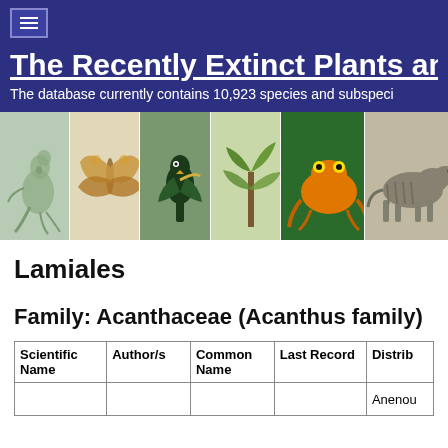The Recently Extinct Plants an...
The database currently contains 10,923 species and subspeci...
[Figure (photo): Photo strip showing six animals: kangaroo, moth, bird (parrot), plant, golden poison frog, and thylacine]
Lamiales
Family: Acanthaceae (Acanthus family)
| Scientific Name | Author/s | Common Name | Last Record | Distrib... |
| --- | --- | --- | --- | --- |
|  |  |  |  | Anenou... |